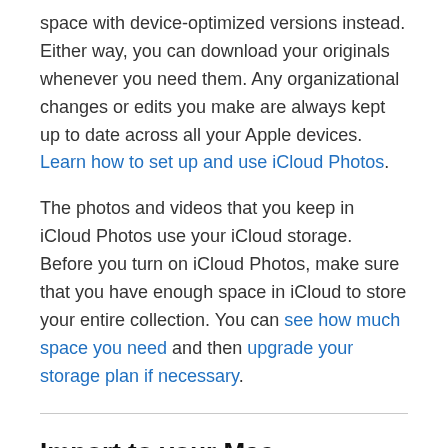space with device-optimized versions instead. Either way, you can download your originals whenever you need them. Any organizational changes or edits you make are always kept up to date across all your Apple devices. Learn how to set up and use iCloud Photos.
The photos and videos that you keep in iCloud Photos use your iCloud storage. Before you turn on iCloud Photos, make sure that you have enough space in iCloud to store your entire collection. You can see how much space you need and then upgrade your storage plan if necessary.
Import to your Mac
1. Connect your iPhone, iPad, or iPod touch to your